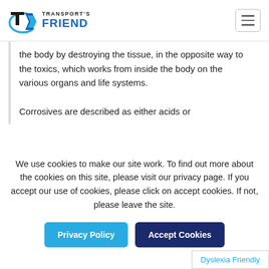[Figure (logo): Transport's Friend logo with stylized T and arrow icon]
the body by destroying the tissue, in the opposite way to the toxics, which works from inside the body on the various organs and life systems.

Corrosives are described as either acids or
We use cookies to make our site work. To find out more about the cookies on this site, please visit our privacy page. If you accept our use of cookies, please click on accept cookies. If not, please leave the site.
Privacy Policy
Accept Cookies
Dyslexia Friendly